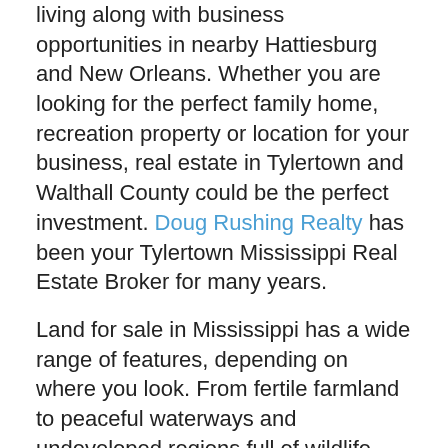living along with business opportunities in nearby Hattiesburg and New Orleans. Whether you are looking for the perfect family home, recreation property or location for your business, real estate in Tylertown and Walthall County could be the perfect investment. Doug Rushing Realty has been your Tylertown Mississippi Real Estate Broker for many years.
Land for sale in Mississippi has a wide range of features, depending on where you look. From fertile farmland to peaceful waterways and undeveloped regions full of wildlife, the state has the perfect property for every type of real estate investor. The land or building that fits your needs could easily be in Walthall County, Mississippi, making Tylertown a great place to begin your real estate search.
Whether you’re looking for an existing building or land to develop, it’s important to have expert help with such an important purchase. An experienced real estate agent can use his or her knowledge of the local area to make the